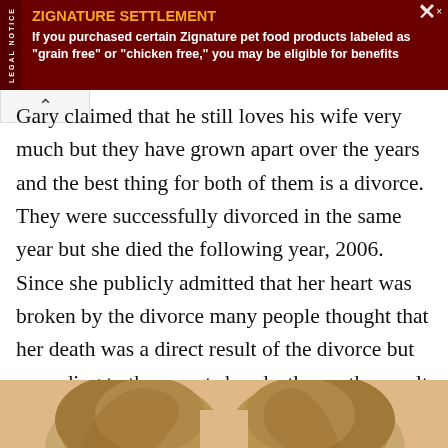[Figure (screenshot): Advertisement banner with dark red background. Left side has vertical text reading 'LEGAL NOTICE'. Title in orange bold text: 'ZIGNATURE SETTLEMENT'. Body text in white bold: 'If you purchased certain Zignature pet food products labeled as "grain free" or "chicken free," you may be eligible for benefits'. Top right has close button with arrow icon.]
Gary claimed that he still loves his wife very much but they have grown apart over the years and the best thing for both of them is a divorce. They were successfully divorced in the same year but she died the following year, 2006. Since she publicly admitted that her heart was broken by the divorce many people thought that her death was a direct result of the divorce but according to the reports her death was the result of hypertensive heart disease.
[Figure (photo): Partial photo showing the tops of two people's heads with blonde/light brown hair against a beige background.]